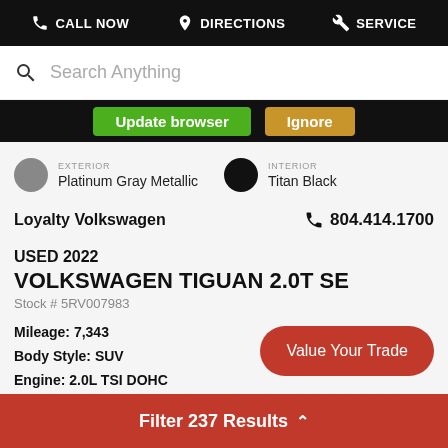CALL NOW  DIRECTIONS  SERVICE
Search Anything
Update browser  Ignore
EXTERIOR
Platinum Gray Metallic
INTERIOR
Titan Black
Loyalty Volkswagen  804.414.1700
USED 2022
VOLKSWAGEN TIGUAN 2.0T SE
Stock # 5RV007983
Mileage: 7,343
Body Style: SUV
Engine: 2.0L TSI DOHC
Transmission: 8-Speed Automatic ...
Value Your Trade
Filter 237 Results ∧